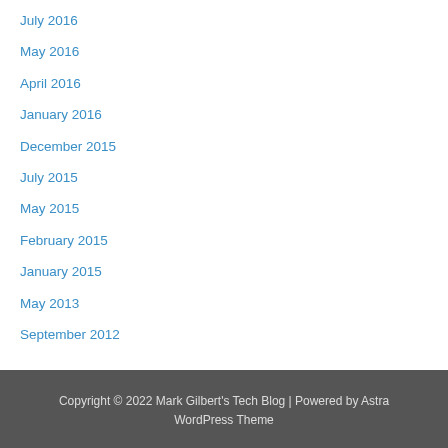July 2016
May 2016
April 2016
January 2016
December 2015
July 2015
May 2015
February 2015
January 2015
May 2013
September 2012
Copyright © 2022 Mark Gilbert's Tech Blog | Powered by Astra WordPress Theme